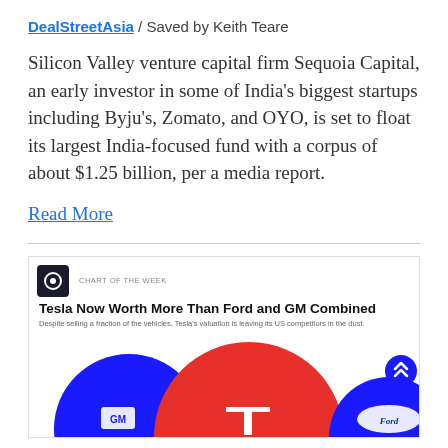DealStreetAsia / Saved by Keith Teare
Silicon Valley venture capital firm Sequoia Capital, an early investor in some of India's biggest startups including Byju's, Zomato, and OYO, is set to float its largest India-focused fund with a corpus of about $1.25 billion, per a media report.
Read More
[Figure (infographic): Chart of the Week infographic titled 'Tesla Now Worth More Than Ford and GM Combined' with subtitle 'Despite selling a fraction of the vehicles, Tesla's valuation is leaving its US competitors in the dust.' Shows three circles representing GM (blue), Tesla (red, largest), and Ford (blue), with company logos inside each circle.]